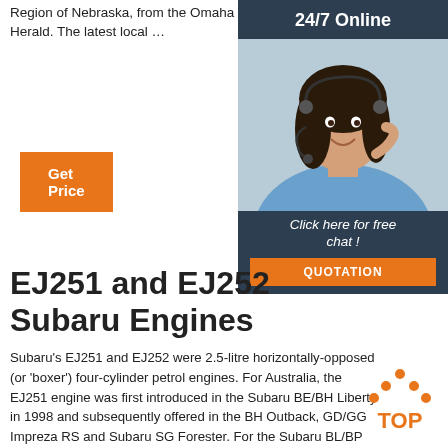Region of Nebraska, from the Omaha World-Herald. The latest local …
Get Price
[Figure (photo): 24/7 Online customer service representative with headset, smiling. Dark header bar reads '24/7 Online'. Bottom section reads 'Click here for free chat!' with orange QUOTATION button.]
EJ251 and EJ252 Subaru Engines
Subaru's EJ251 and EJ252 were 2.5-litre horizontally-opposed (or 'boxer') four-cylinder petrol engines. For Australia, the EJ251 engine was first introduced in the Subaru BE/BH Liberty in 1998 and subsequently offered in the BH Outback, GD/GG Impreza RS and Subaru SG Forester. For the Subaru BL/BP Liberty and BP Outback, the EJ251 was replaced by the EJ252 engine.
[Figure (logo): Orange 'TOP' badge with upward arrow icon]